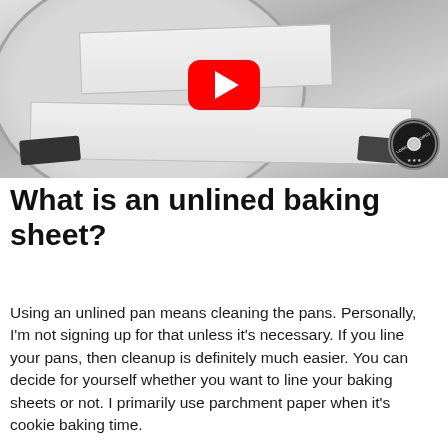[Figure (photo): Video thumbnail showing baking pans lined with parchment paper on a circular plate, with a YouTube play button overlay and a circular watermark badge in the bottom right corner]
What is an unlined baking sheet?
Using an unlined pan means cleaning the pans. Personally, I'm not signing up for that unless it's necessary. If you line your pans, then cleanup is definitely much easier. You can decide for yourself whether you want to line your baking sheets or not. I primarily use parchment paper when it's cookie baking time.